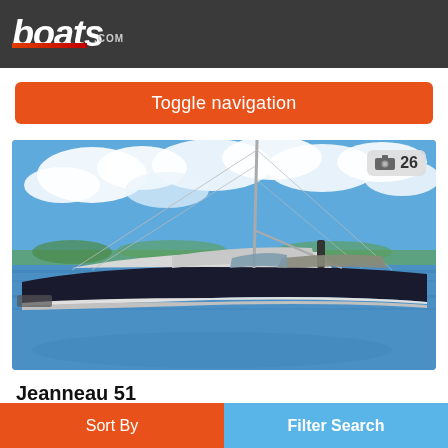boats.com
Toggle navigation
[Figure (photo): A Jeanneau 51 sailboat with dark hull moored at a marina. Tall mast, white deck, bimini cover. Background shows blue sky with clouds and green shoreline. Photo badge showing camera icon and number 26.]
Jeanneau 51
Falmouth Marina, United Kingdom
Sort By   Filter Search